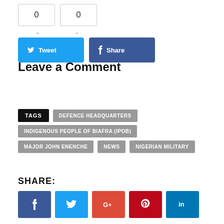[Figure (other): Two counter boxes showing 0 and 0, with Tweet and Share social buttons below]
Leave a Comment
TAGS  DEFENCE HEADQUARTERS  INDIGENOUS PEOPLE OF BIAFRA (IPOB)  MAJOR JOHN ENENCHE  NEWS  NIGERIAN MILITARY
SHARE:
[Figure (other): Social share icon buttons: Facebook, Twitter, Google+, Pinterest, LinkedIn]